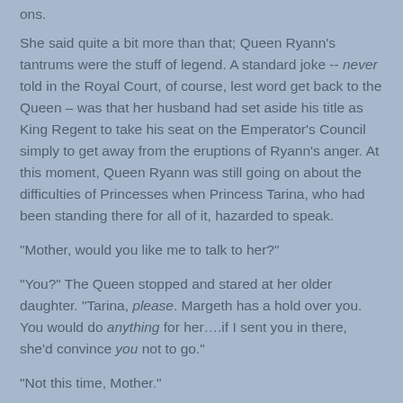ons.
She said quite a bit more than that; Queen Ryann's tantrums were the stuff of legend. A standard joke -- never told in the Royal Court, of course, lest word get back to the Queen – was that her husband had set aside his title as King Regent to take his seat on the Emperator's Council simply to get away from the eruptions of Ryann's anger. At this moment, Queen Ryann was still going on about the difficulties of Princesses when Princess Tarina, who had been standing there for all of it, hazarded to speak.
"Mother, would you like me to talk to her?"
"You?" The Queen stopped and stared at her older daughter. "Tarina, please. Margeth has a hold over you. You would do anything for her….if I sent you in there, she'd convince you not to go."
"Not this time, Mother."
The Queen furrowed her brow and stroked her chin. "I suppose I could always order the Royal Guard to bring her...